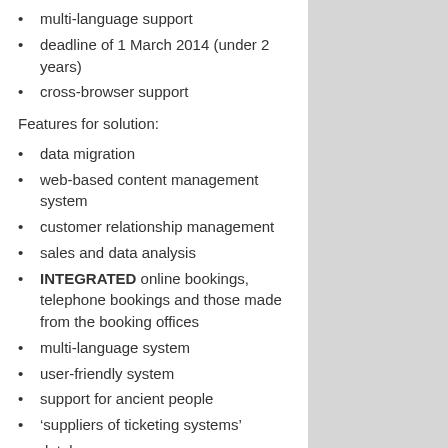multi-language support
deadline of 1 March 2014 (under 2 years)
cross-browser support
Features for solution:
data migration
web-based content management system
customer relationship management
sales and data analysis
INTEGRATED online bookings, telephone bookings and those made from the booking offices
multi-language system
user-friendly system
support for ancient people
‘suppliers of ticketing systems’
database
ACID (atomicity, consistency, isolation, durability)
database data-migration
human readable output